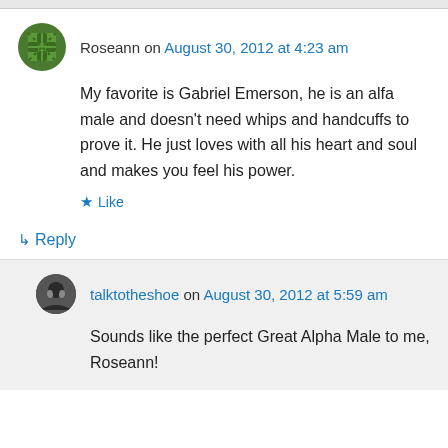Roseann on August 30, 2012 at 4:23 am
My favorite is Gabriel Emerson, he is an alfa male and doesn't need whips and handcuffs to prove it. He just loves with all his heart and soul and makes you feel his power.
↳ Reply
talktotheshoe on August 30, 2012 at 5:59 am
Sounds like the perfect Great Alpha Male to me, Roseann!